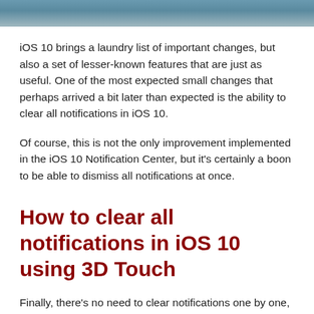[Figure (photo): Partial photo strip at top of page, showing what appears to be a hand holding a device with a blurred/teal background.]
iOS 10 brings a laundry list of important changes, but also a set of lesser-known features that are just as useful. One of the most expected small changes that perhaps arrived a bit later than expected is the ability to clear all notifications in iOS 10.
Of course, this is not the only improvement implemented in the iOS 10 Notification Center, but it's certainly a boon to be able to dismiss all notifications at once.
How to clear all notifications in iOS 10 using 3D Touch
Finally, there's no need to clear notifications one by one, and even if your iPhone 6s or 6s Plus isn't running iOS 10